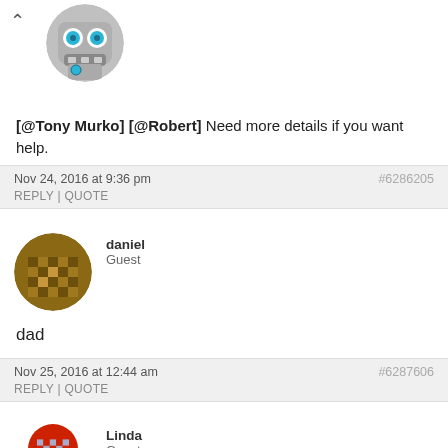[Figure (illustration): Robot avatar with blue eyes, grey body, partial view at top of page]
[@Tony Murko] [@Robert] Need more details if you want help.
Nov 24, 2016 at 9:36 pm   #6286205
REPLY | QUOTE
[Figure (illustration): Brown pixelated/minecraft-style avatar for user 'daniel']
daniel
Guest
dad
Nov 25, 2016 at 12:44 am   #6287606
REPLY | QUOTE
[Figure (illustration): Red and grey pixelated avatar for user 'Linda']
Linda
Guest